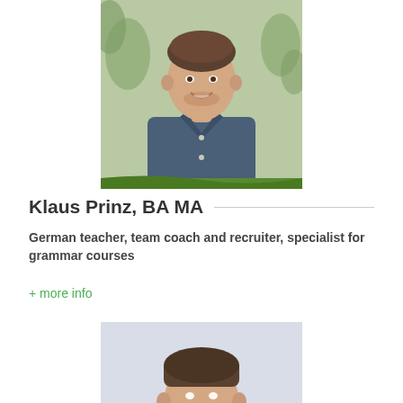[Figure (photo): Portrait photo of Klaus Prinz – a young man smiling, wearing a dark blue button-up shirt, with green plants in the background. A green decorative stripe appears at the bottom of the image.]
Klaus Prinz, BA MA
German teacher, team coach and recruiter, specialist for grammar courses
+ more info
[Figure (photo): Partial portrait photo of a second person – a man with short hair, cropped at the bottom of the page.]